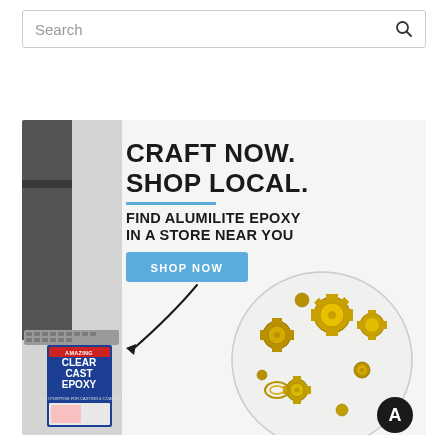Search
[Figure (infographic): Advertisement for Alumilite Epoxy showing 'CRAFT NOW. SHOP LOCAL.' headline with a Shop Now button, Clear Cast Epoxy product box, a resin coaster with gold gears/charms, and laptop in background.]